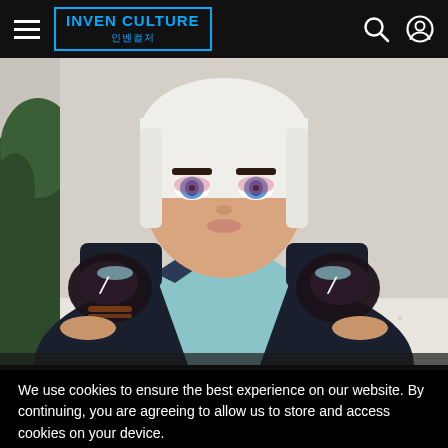INVEN CULTURE 인벤컬처
[Figure (photo): A woman cosplaying as a video game character (Raze from Valorant), wearing a blue geometric top, dark shoulder pads, fingerless gloves, and a platinum blonde bob wig with blue eye makeup, photographed from the waist up against a light background with plants.]
We use cookies to ensure the best experience on our website. By continuing, you are agreeing to allow us to store and access cookies on your device.
Click here for more information.
Got it